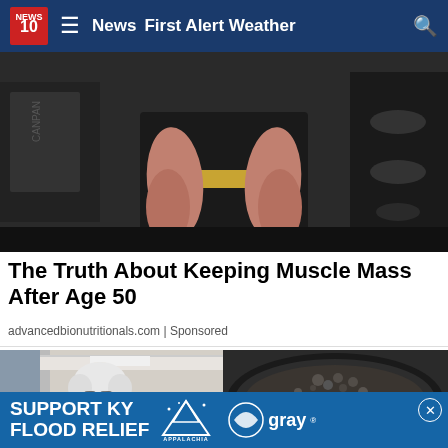News 10 | News | First Alert Weather
[Figure (photo): Muscular legs and thighs of a bodybuilder sitting in a gym, wearing a black outfit with a gold weightlifting belt, gym equipment in background]
The Truth About Keeping Muscle Mass After Age 50
advancedbionutritionals.com | Sponsored
[Figure (photo): Split image: left shows an elderly man with white hair and glasses in a hallway; right shows food cooking in a dark pan]
[Figure (other): Advertisement banner: SUPPORT KY FLOOD RELIEF with Appalachia Rises and Gray logos]